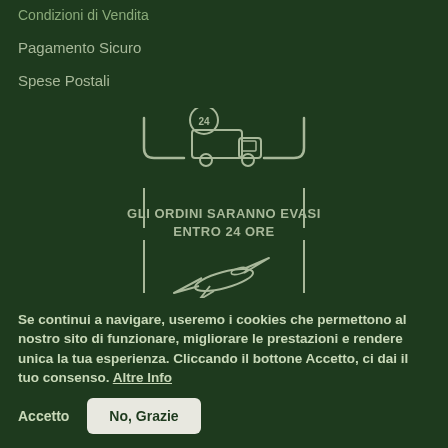Condizioni di Vendita
Pagamento Sicuro
Spese Postali
[Figure (illustration): Delivery truck icon with 24h badge inside a decorative corner bracket frame, and an airplane icon below inside the same frame. Text reads: GLI ORDINI SARANNO EVASI ENTRO 24 ORE]
GLI ORDINI SARANNO EVASI ENTRO 24 ORE
Se continui a navigare, useremo i cookies che permettono al nostro sito di funzionare, migliorare le prestazioni e rendere unica la tua esperienza. Cliccando il bottone Accetto, ci dai il tuo consenso. Altre Info
Accetto
No, Grazie